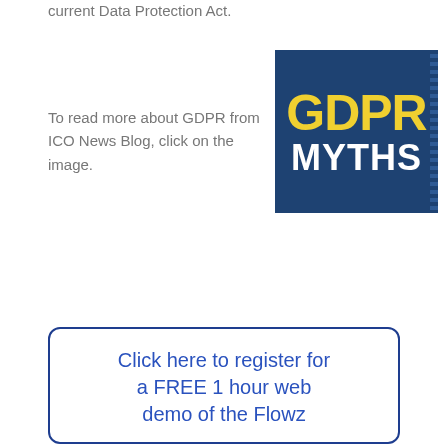current Data Protection Act.
To read more about GDPR from ICO News Blog, click on the image.
[Figure (logo): GDPR Myths logo on dark blue background with yellow 'GDPR' text and white 'MYTHS' text, with decorative stripe on right side]
Click here to register for a FREE 1 hour web demo of the Flowz